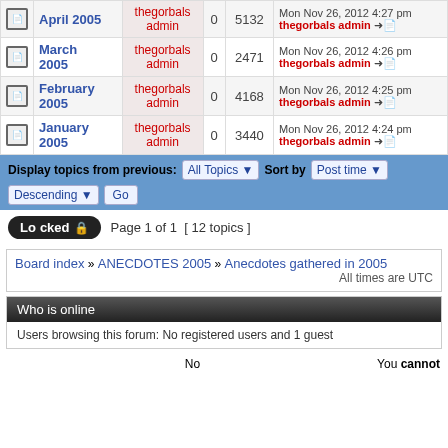|  | Topic | Author | Replies | Views | Last post |
| --- | --- | --- | --- | --- | --- |
| [icon] | April 2005 | thegorbals admin | 0 | 5132 | Mon Nov 26, 2012 4:27 pm thegorbals admin |
| [icon] | March 2005 | thegorbals admin | 0 | 2471 | Mon Nov 26, 2012 4:26 pm thegorbals admin |
| [icon] | February 2005 | thegorbals admin | 0 | 4168 | Mon Nov 26, 2012 4:25 pm thegorbals admin |
| [icon] | January 2005 | thegorbals admin | 0 | 3440 | Mon Nov 26, 2012 4:24 pm thegorbals admin |
Display topics from previous: All Topics ▼ Sort by Post time ▼ Descending ▼ Go
Locked  Page 1 of 1  [ 12 topics ]
Board index » ANECDOTES 2005 » Anecdotes gathered in 2005
All times are UTC
Who is online
Users browsing this forum: No registered users and 1 guest
You cannot